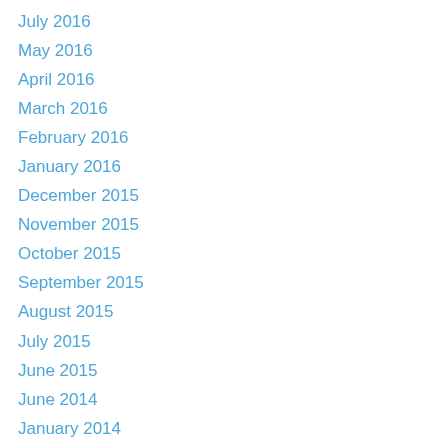July 2016
May 2016
April 2016
March 2016
February 2016
January 2016
December 2015
November 2015
October 2015
September 2015
August 2015
July 2015
June 2015
June 2014
January 2014
December 2013
November 2013
October 2013
September 2013
August 2013